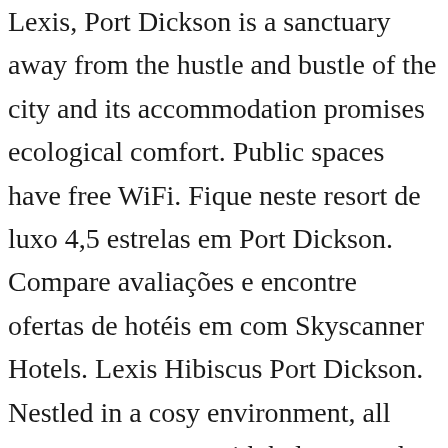Lexis, Port Dickson is a sanctuary away from the hustle and bustle of the city and its accommodation promises ecological comfort. Public spaces have free WiFi. Fique neste resort de luxo 4,5 estrelas em Port Dickson. Compare avaliações e encontre ofertas de hotéis em com Skyscanner Hotels. Lexis Hibiscus Port Dickson. Nestled in a cosy environment, all guestrooms come with balcony and are accented with Balinese-inspired tumble stone and tropical hardwood flooring, elevated bedrooms as well as open concept bathroom with transparent glass